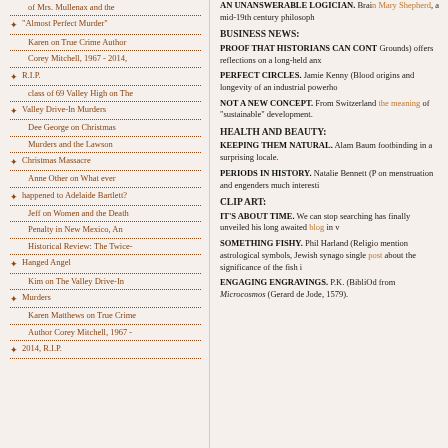of Mrs. Mullenax and the
"Almost Perfect Murder"
Karen on True Crime Author Corey Mitchell, 1967 - 2014,
R.I.P.
class of 69 Valley High on The
Valley Drive-In Murders
Dee George on Christmas Murders and the Lawson
Christmas Massacre
Anne Other on What ever
happened to Adelaide Bartlett?
Jeff on Women and the Death Penalty in New Mexico, An Historical Review: The Twice-
Hanged Angel
Kim on The Valley Drive-In
Murders
Karen Matthews on True Crime Author Corey Mitchell, 1967 -
2014, R.I.P.
AN UNANSWERABLE LOGICIAN.
Brain Mary Shepherd, a mid-19th century philosoph
BUSINESS NEWS:
PROOF THAT HISTORIANS CAN CONT
Grounds) offers reflections on a long-held anx
PERFECT CIRCLES.
Jamie Kenny (Blood origins and longevity of an industrial powerho
NOT A NEW CONCEPT.
From Switzerland the meaning of "sustainable" development.
HEALTH AND BEAUTY:
KEEPING THEM NATURAL.
Alam Baum footbinding in a surprising locale.
PERIODS IN HISTORY.
Natalie Bennett (P on menstruation and engenders much interesti
CLIP ART:
IT'S ABOUT TIME.
We can stop searching has finally unveiled his long awaited blog in v
SOMETHING FISHY.
Phil Harland (Religio mention astrological symbols, Jewish synago single post about the significance of the fish i
ENGAGING ENGRAVINGS.
P.K. (BibliOd from Microcosmos (Gerard de Jode, 1579).